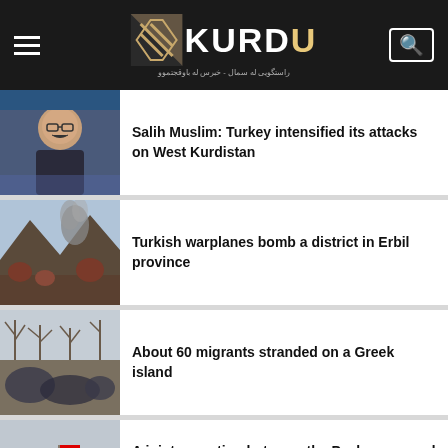KURDU
[Figure (photo): Man with glasses and mustache in suit, seated at conference table]
Salih Muslim: Turkey intensified its attacks on West Kurdistan
[Figure (photo): Smoke rising from mountains, aerial bombing scene]
Turkish warplanes bomb a district in Erbil province
[Figure (photo): Group of migrants sitting outdoors in winter, bare trees in background]
About 60 migrants stranded on a Greek island
[Figure (photo): Soldiers with Kurdish and Iraqi flags in outdoor setting]
A joint operation between the Peshmerga and the Iraqi army begun